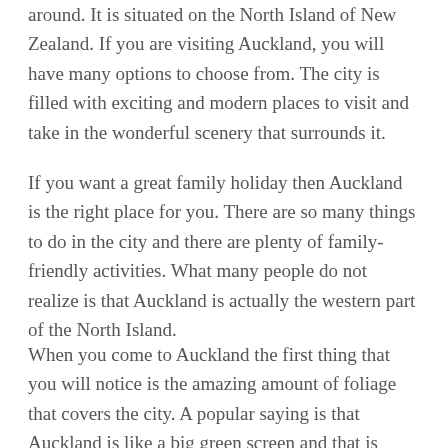around. It is situated on the North Island of New Zealand. If you are visiting Auckland, you will have many options to choose from. The city is filled with exciting and modern places to visit and take in the wonderful scenery that surrounds it.
If you want a great family holiday then Auckland is the right place for you. There are so many things to do in the city and there are plenty of family-friendly activities. What many people do not realize is that Auckland is actually the western part of the North Island.
When you come to Auckland the first thing that you will notice is the amazing amount of foliage that covers the city. A popular saying is that Auckland is like a big green screen and that is because of the many trees that can be